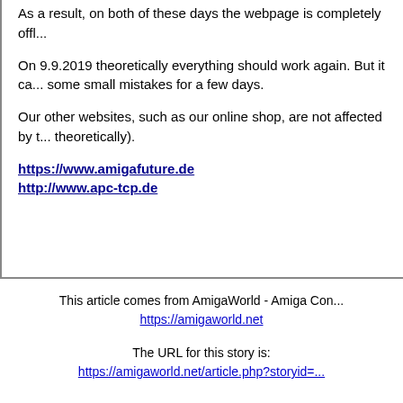As a result, on both of these days the webpage is completely off...
On 9.9.2019 theoretically everything should work again. But it ca... some small mistakes for a few days.
Our other websites, such as our online shop, are not affected by t... theoretically).
https://www.amigafuture.de
http://www.apc-tcp.de
This article comes from AmigaWorld - Amiga Con...
https://amigaworld.net
The URL for this story is:
https://amigaworld.net/article.php?storyid=...